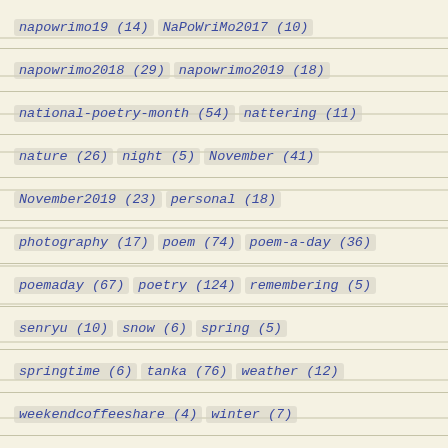napowrimo19 (14)   NaPoWriMo2017 (10)
napowrimo2018 (29)   napowrimo2019 (18)
national-poetry-month (54)   nattering (11)
nature (26)   night (5)   November (41)
November2019 (23)   personal (18)
photography (17)   poem (74)   poem-a-day (36)
poemaday (67)   poetry (124)   remembering (5)
senryu (10)   snow (6)   spring (5)
springtime (6)   tanka (76)   weather (12)
weekendcoffeeshare (4)   winter (7)
wordpress (9)   WP-writing-course (12)
writing (42)